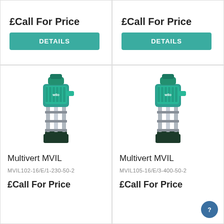£Call For Price
DETAILS
£Call For Price
DETAILS
[Figure (photo): Wilo Multivert MVIL vertical multistage pump with green motor top and stainless steel body]
Multivert MVIL
MVIL102-16/E/1-230-50-2
£Call For Price
[Figure (photo): Wilo Multivert MVIL vertical multistage pump with green motor top and stainless steel body]
Multivert MVIL
MVIL105-16/E/3-400-50-2
£Call For Price